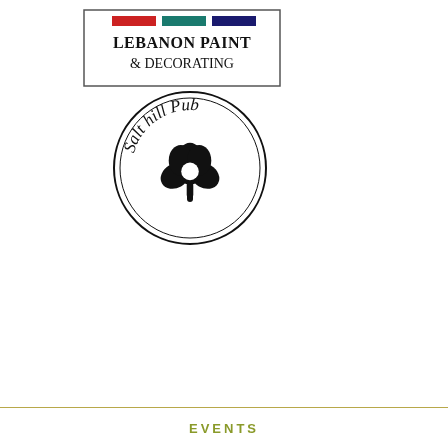[Figure (logo): Lebanon Paint & Decorating logo with red, teal, and dark blue horizontal bars at top and text 'Lebanon Paint & Decorating' in serif font inside a rectangular border]
[Figure (logo): Salt Hill Pub circular logo with text 'Salt hill Pub' arched around the top and a shamrock/clover design in the center, double circle border]
EVENTS